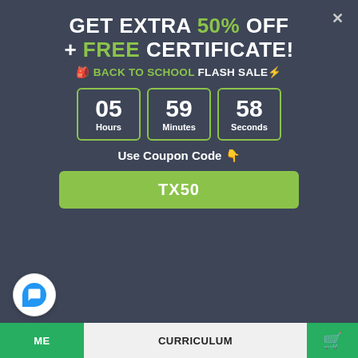GET EXTRA 50% OFF + FREE CERTIFICATE!
🎒 BACK TO SCHOOL FLASH SALE⚡
[Figure (infographic): Countdown timer showing 05 Hours, 59 Minutes, 58 Seconds in green-bordered boxes on dark background]
Use Coupon Code 👇
TX50
safety of children. It includes audiovisual training and guidance, ideal for teachers, childminders, and social care workers.
Anyone who works with children must have an excellent understanding of their legal responsibilities when it comes to promoting
ME   CURRICULUM   🛒